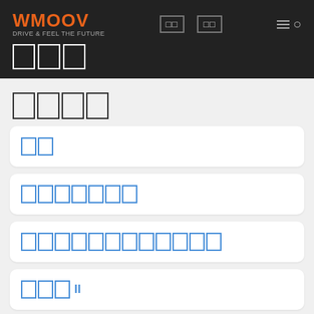WMOOV [nav] [nav] [menu/search]
□□□
□□□□
□□
□□□□□□□
□□□□□□□□□□□□
□□□ II